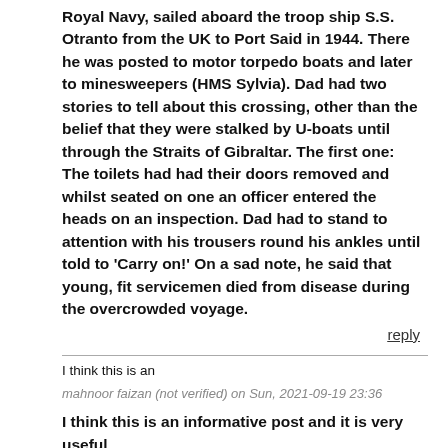Royal Navy, sailed aboard the troop ship S.S. Otranto from the UK to Port Said in 1944. There he was posted to motor torpedo boats and later to minesweepers (HMS Sylvia). Dad had two stories to tell about this crossing, other than the belief that they were stalked by U-boats until through the Straits of Gibraltar. The first one: The toilets had had their doors removed and whilst seated on one an officer entered the heads on an inspection. Dad had to stand to attention with his trousers round his ankles until told to 'Carry on!' On a sad note, he said that young, fit servicemen died from disease during the overcrowded voyage.
reply
I think this is an
mahnoor faizan (not verified) on Sun, 2021-09-19 23:36
I think this is an informative post and it is very useful